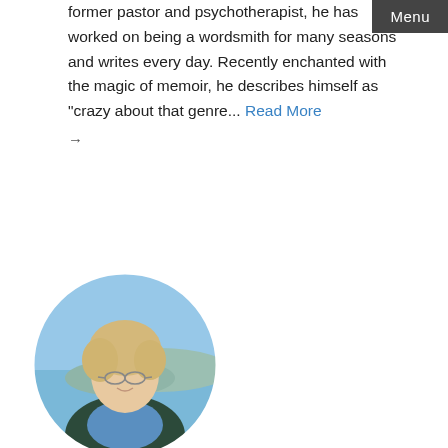Menu
former pastor and psychotherapist, he has worked on being a wordsmith for many seasons and writes every day. Recently enchanted with the magic of memoir, he describes himself as "crazy about that genre... Read More →
[Figure (photo): Circular portrait photo of Rita M. Gardner, a woman with short blonde hair, smiling, with a scenic water and hills background]
Rita M. Gardner
Writer, self
Rita M. Gardner grew up as an expatriate in the Dominican Republic during a repressive dictatorship. Her